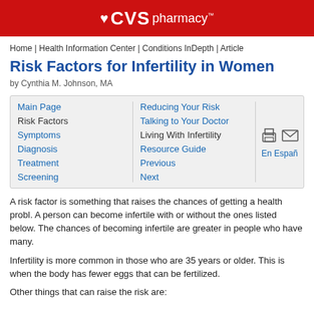CVS pharmacy
Home | Health Information Center | Conditions InDepth | Article
Risk Factors for Infertility in Women
by Cynthia M. Johnson, MA
Main Page
Risk Factors
Symptoms
Diagnosis
Treatment
Screening
Reducing Your Risk
Talking to Your Doctor
Living With Infertility
Resource Guide
Previous
Next
En Españ
A risk factor is something that raises the chances of getting a health probl. A person can become infertile with or without the ones listed below. The chances of becoming infertile are greater in people who have many.
Infertility is more common in those who are 35 years or older. This is when the body has fewer eggs that can be fertilized.
Other things that can raise the risk are: